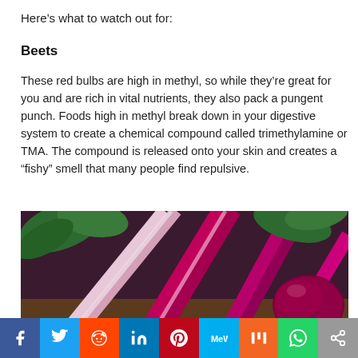Here's what to watch out for:
Beets
These red bulbs are high in methyl, so while they're great for you and are rich in vital nutrients, they also pack a pungent punch. Foods high in methyl break down in your digestive system to create a chemical compound called trimethylamine or TMA. The compound is released onto your skin and creates a “fishy” smell that many people find repulsive.
[Figure (photo): Close-up photo of fresh beets with stems and leaves on a wooden surface, showing deep red/magenta coloring.]
[Figure (infographic): Social sharing bar with icons for Facebook, Twitter, Reddit, LinkedIn, Pinterest, MeWe, Mix, WhatsApp, and Share.]